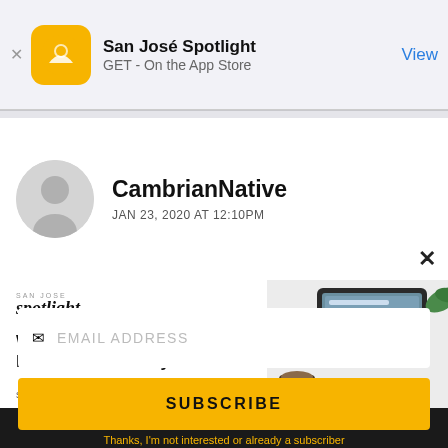[Figure (screenshot): App Store smart banner showing San José Spotlight app with orange logo, name, GET - On the App Store text, and View button]
[Figure (screenshot): User comment header showing avatar placeholder, username CambrianNative, date JAN 23, 2020 AT 12:10PM, and close X button]
[Figure (screenshot): San José Spotlight advertisement banner with logo, headline 'Where San Jose locals start the day.' and sanjosespotlight.com URL, with device image on right]
EMAIL ADDRESS
SUBSCRIBE
Thanks, I'm not interested or already a subscriber